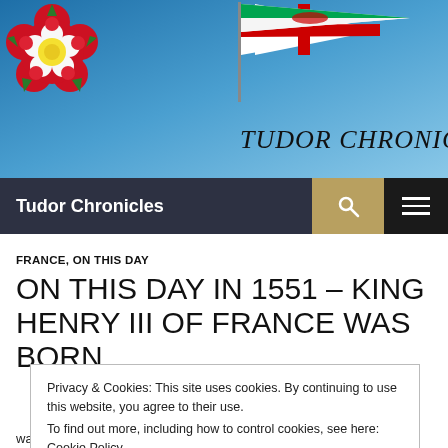[Figure (photo): Tudor Chronicles website header banner with Tudor rose logo on left, flags (English St George's Cross and Welsh Dragon) in center-right, and 'TUDOR CHRONICLES' handwritten text against a blue sky background]
Tudor Chronicles
FRANCE, ON THIS DAY
ON THIS DAY IN 1551 – KING HENRY III OF FRANCE WAS BORN
Privacy & Cookies: This site uses cookies. By continuing to use this website, you agree to their use.
To find out more, including how to control cookies, see here: Cookie Policy
was the fourth son of King Henry II and Catherine de Medici